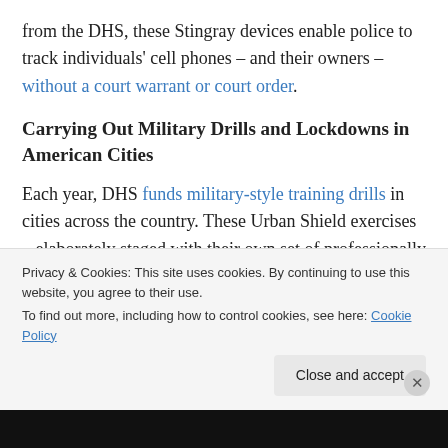from the DHS, these Stingray devices enable police to track individuals' cell phones – and their owners – without a court warrant or court order.
Carrying Out Military Drills and Lockdowns in American Cities
Each year, DHS funds military-style training drills in cities across the country. These Urban Shield exercises – elaborately staged with their own set of professionally trained Crisis Actors playing the parts of shooters,
Privacy & Cookies: This site uses cookies. By continuing to use this website, you agree to their use.
To find out more, including how to control cookies, see here: Cookie Policy